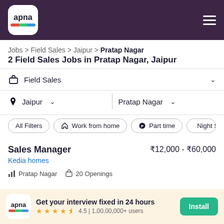apna
Jobs > Field Sales > Jaipur > Pratap Nagar
2 Field Sales Jobs in Pratap Nagar, Jaipur
Field Sales
Jaipur | Pratap Nagar
All Filters | Work from home | Part time | Night Sh...
Sales Manager ₹12,000 - ₹60,000
Kedia homes
Pratap Nagar  20 Openings
Get your interview fixed in 24 hours 4.5 | 1,00,00,000+ users Install